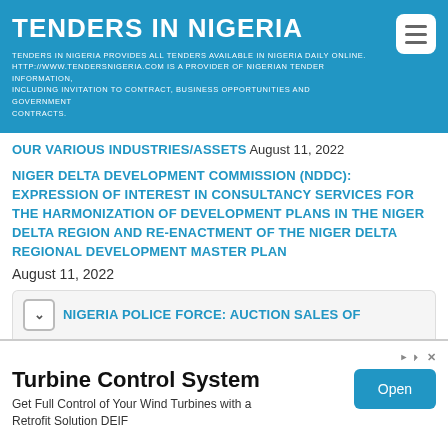TENDERS IN NIGERIA
TENDERS IN NIGERIA PROVIDES ALL TENDERS AVAILABLE IN NIGERIA DAILY ONLINE. HTTP://WWW.TENDERSNIGERIA.COM IS A PROVIDER OF NIGERIAN TENDER INFORMATION, INCLUDING INVITATION TO CONTRACT, BUSINESS OPPORTUNITIES AND GOVERNMENT CONTRACTS.
OUR VARIOUS INDUSTRIES/ASSETS August 11, 2022
NIGER DELTA DEVELOPMENT COMMISSION (NDDC): EXPRESSION OF INTEREST IN CONSULTANCY SERVICES FOR THE HARMONIZATION OF DEVELOPMENT PLANS IN THE NIGER DELTA REGION AND RE-ENACTMENT OF THE NIGER DELTA REGIONAL DEVELOPMENT MASTER PLAN
August 11, 2022
NIGERIA POLICE FORCE: AUCTION SALES OF
[Figure (infographic): Advertisement banner for Turbine Control System: 'Get Full Control of Your Wind Turbines with a Retrofit Solution DEIF' with an Open button]